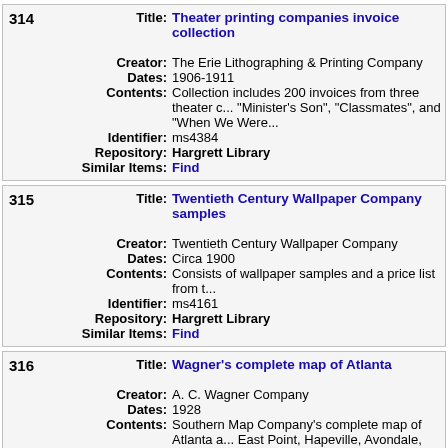| 314 | Title: | Theater printing companies invoice collection |
|  | Creator: | The Erie Lithographing & Printing Company |
|  | Dates: | 1906-1911 |
|  | Contents: | Collection includes 200 invoices from three theater c... "Minister's Son", "Classmates", and "When We Were... |
|  | Identifier: | ms4384 |
|  | Repository: | Hargrett Library |
|  | Similar Items: | Find |
| 315 | Title: | Twentieth Century Wallpaper Company samples |
|  | Creator: | Twentieth Century Wallpaper Company |
|  | Dates: | Circa 1900 |
|  | Contents: | Consists of wallpaper samples and a price list from t... |
|  | Identifier: | ms4161 |
|  | Repository: | Hargrett Library |
|  | Similar Items: | Find |
| 316 | Title: | Wagner's complete map of Atlanta |
|  | Creator: | A. C. Wagner Company |
|  | Dates: | 1928 |
|  | Contents: | Southern Map Company's complete map of Atlanta a... East Point, Hapeville, Avondale, Decatur; Publisher:... |